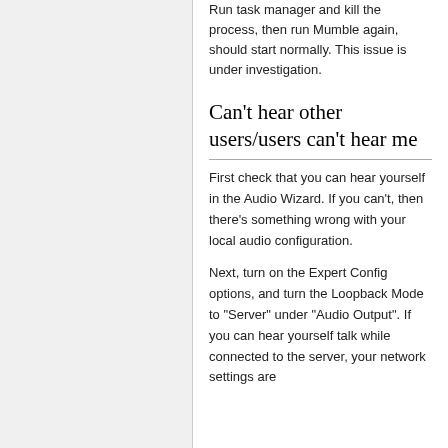Run task manager and kill the process, then run Mumble again, should start normally. This issue is under investigation.
Can't hear other users/users can't hear me
First check that you can hear yourself in the Audio Wizard. If you can't, then there's something wrong with your local audio configuration.
Next, turn on the Expert Config options, and turn the Loopback Mode to "Server" under "Audio Output". If you can hear yourself talk while connected to the server, your network settings are